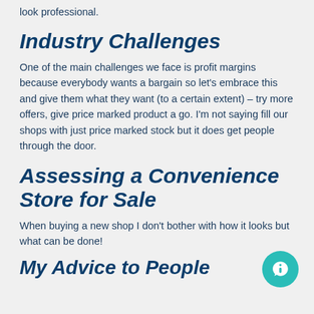look professional.
Industry Challenges
One of the main challenges we face is profit margins because everybody wants a bargain so let’s embrace this and give them what they want (to a certain extent) – try more offers, give price marked product a go. I’m not saying fill our shops with just price marked stock but it does get people through the door.
Assessing a Convenience Store for Sale
When buying a new shop I don’t bother with how it looks but what can be done!
My Advice to People